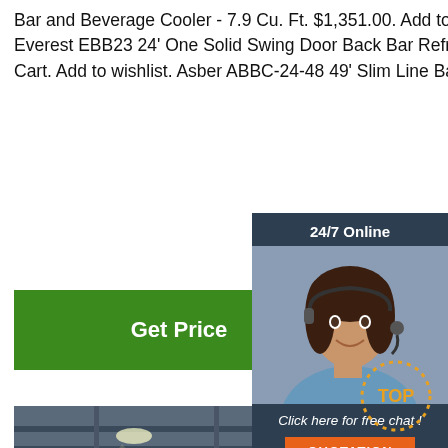Bar and Beverage Cooler - 7.9 Cu. Ft. $1,351.00. Add to Cart. Add to wishlist. Everest EBB23 24' One Solid Swing Door Back Bar Refrigerator. $1,433.00. Add to Cart. Add to wishlist. Asber ABBC-24-48 49' Slim Line Back Bar Coo
[Figure (other): Green 'Get Price' button]
[Figure (other): 24/7 Online chat widget with female customer service agent photo, 'Click here for free chat!' text, and orange QUOTATION button]
[Figure (photo): Industrial factory interior with large rolls of steel coil on the floor]
[Figure (other): TOP label with dotted circle decoration in bottom right corner]